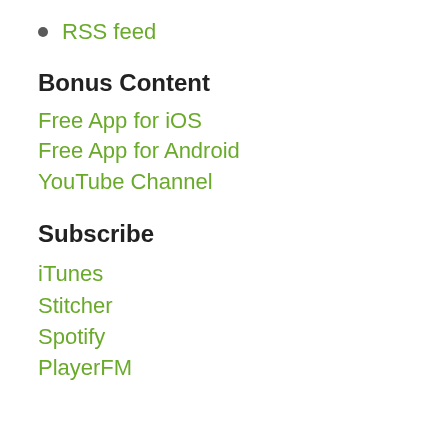RSS feed
Bonus Content
Free App for iOS
Free App for Android
YouTube Channel
Subscribe
iTunes
Stitcher
Spotify
PlayerFM